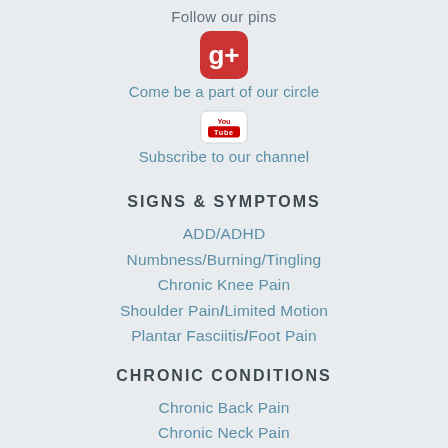Follow our pins
[Figure (logo): Google+ icon (red rounded square with white g+ symbol)]
Come be a part of our circle
[Figure (logo): YouTube icon (white rounded rectangle with red YouTube logo)]
Subscribe to our channel
SIGNS & SYMPTOMS
ADD/ADHD
Numbness/Burning/Tingling
Chronic Knee Pain
Shoulder Pain/Limited Motion
Plantar Fasciitis/Foot Pain
CHRONIC CONDITIONS
Chronic Back Pain
Chronic Neck Pain
Chronic Sciatica or Leg Pain